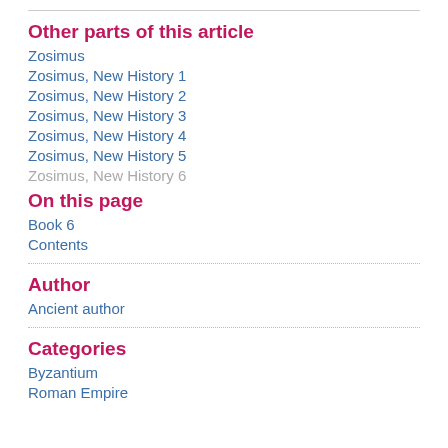Other parts of this article
Zosimus
Zosimus, New History 1
Zosimus, New History 2
Zosimus, New History 3
Zosimus, New History 4
Zosimus, New History 5
Zosimus, New History 6
On this page
Book 6
Contents
Author
Ancient author
Categories
Byzantium
Roman Empire